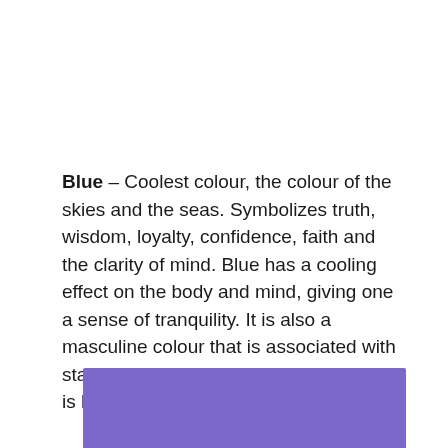Blue – Coolest colour, the colour of the skies and the seas. Symbolizes truth, wisdom, loyalty, confidence, faith and the clarity of mind. Blue has a cooling effect on the body and mind, giving one a sense of tranquility. It is also a masculine colour that is associated with stability, depth and expertise and hence is highly accepted by males.
[Figure (illustration): A solid purple/periwinkle colour swatch rectangle]